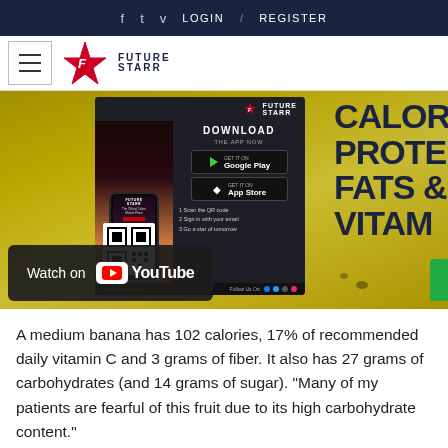f  t  v  LOGIN  /  REGISTER
[Figure (logo): Future Starr logo with hamburger menu and star icon]
[Figure (photo): Hero image showing yellow bananas with a Future Starr app download popup overlay and partially visible calorie/protein/fats/vitamin text on the right, and a YouTube watch bar at the bottom]
A medium banana has 102 calories, 17% of recommended daily vitamin C and 3 grams of fiber. It also has 27 grams of carbohydrates (and 14 grams of sugar). "Many of my patients are fearful of this fruit due to its high carbohydrate content."